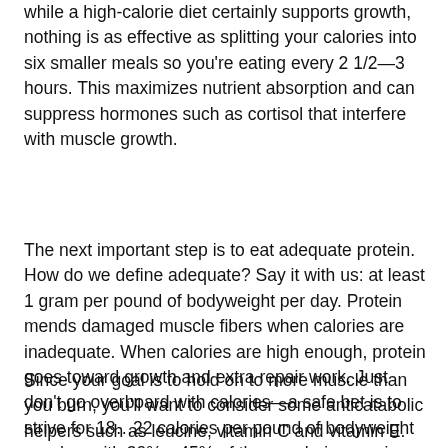while a high-calorie diet certainly supports growth, nothing is as effective as splitting your calories into six smaller meals so you're eating every 2 1/2—3 hours. This maximizes nutrient absorption and can suppress hormones such as cortisol that interfere with muscle growth.
The next important step is to eat adequate protein. How do we define adequate? Say it with us: at least 1 gram per pound of bodyweight per day. Protein mends damaged muscle fibers when calories are inadequate. When calories are high enough, protein goes toward growth and extra repair work. Just don't go overboard with calories—a safe bet is to strive for 18…22 calories per pound of bodyweight per day, with 30%…45% of those calories coming from protein.
Since your goal is to hold on to more muscle than you burn, you'll want to consider some anticatabolic helpers such as leucine, vitamin C and vitamin E. Five grams of the amino acid leucine taken before and after training can shut off muscle breakdown; 500—1,000 mg of